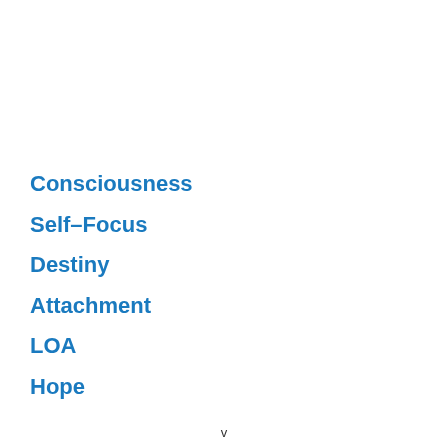Consciousness
Self-Focus
Destiny
Attachment
LOA
Hope
v